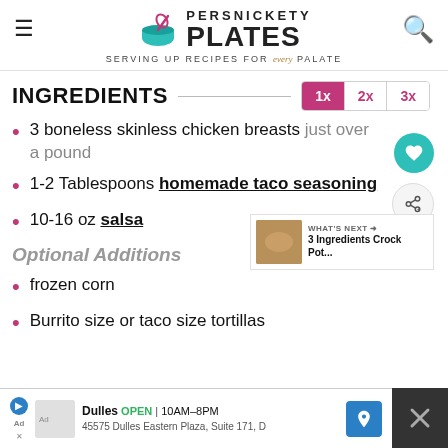[Figure (logo): Persnickety Plates logo with whisk and bowl icon, tagline 'Serving up recipes for every palate']
INGREDIENTS
3 boneless skinless chicken breasts just over a pound
1-2 Tablespoons homemade taco seasoning
10-16 oz salsa
Optional Additions
frozen corn
Burrito size or taco size tortillas